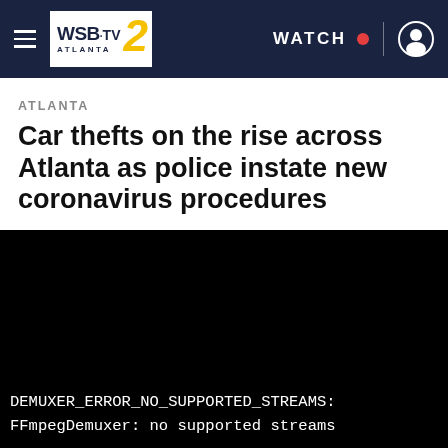WSB-TV 2 ATLANTA — WATCH
ATLANTA
Car thefts on the rise across Atlanta as police instate new coronavirus procedures
[Figure (screenshot): Black video player area showing a media error message: DEMUXER_ERROR_NO_SUPPORTED_STREAMS: FFmpegDemuxer: no supported streams]
DEMUXER_ERROR_NO_SUPPORTED_STREAMS: FFmpegDemuxer: no supported streams